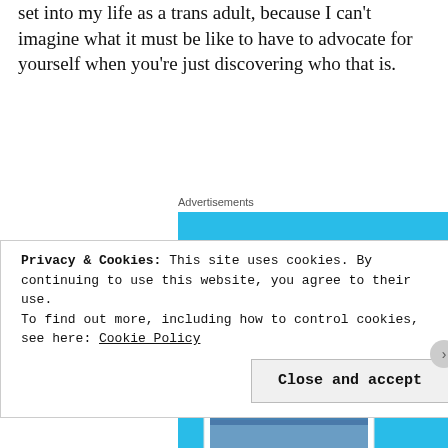grateful that in only living that v... and all finally set into my life as a trans adult, because I can't imagine what it must be like to have to advocate for yourself when you're just discovering who that is.
Advertisements
[Figure (screenshot): DayOne app advertisement showing a smartphone with journal entries and the text 'DAYONE — Your Journal for life' on a blue background]
Privacy & Cookies: This site uses cookies. By continuing to use this website, you agree to their use.
To find out more, including how to control cookies, see here: Cookie Policy
Close and accept